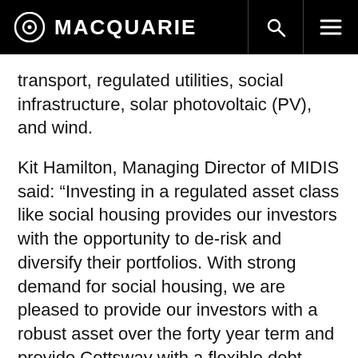MACQUARIE
transport, regulated utilities, social infrastructure, solar photovoltaic (PV), and wind.
Kit Hamilton, Managing Director of MIDIS said: “Investing in a regulated asset class like social housing provides our investors with the opportunity to de-risk and diversify their portfolios. With strong demand for social housing, we are pleased to provide our investors with a robust asset over the forty year term and provide Cottsway with a flexible debt funding solution.